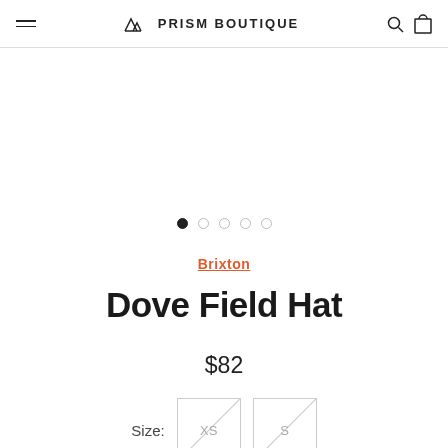Prism Boutique
[Figure (illustration): Carousel image area with 5 navigation dots; first dot is filled/active]
Brixton
Dove Field Hat
$82
Size: XS S